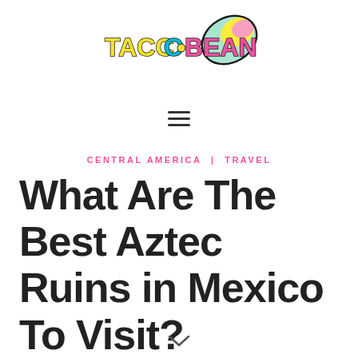[Figure (logo): TaccoBean colorful logo with stylized text and avocado/food graphic]
[Figure (other): Hamburger menu icon (three horizontal lines)]
CENTRAL AMERICA | TRAVEL
What Are The Best Aztec Ruins in Mexico To Visit?
[Figure (other): Downward chevron/arrow indicator at bottom of page]